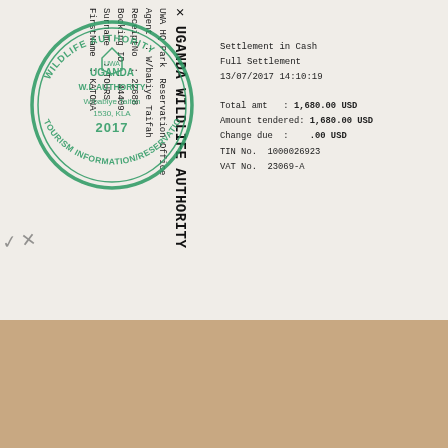UGANDA WILDLIFE AUTHORITY
UWA HQ Park Reservation Office
Agent : W/babiye Taifah
ReceiptNo : 22688
Booking ID : 44409
Surname : TOURS
FirstName : KATONA
Settlement in Cash
Full Settlement
13/07/2017 14:10:19
Total amt : 1,680.00 USD
Amount tendered: 1,680.00 USD
Change due : .00 USD
TIN No. 1000026923
VAT No. 23069-A